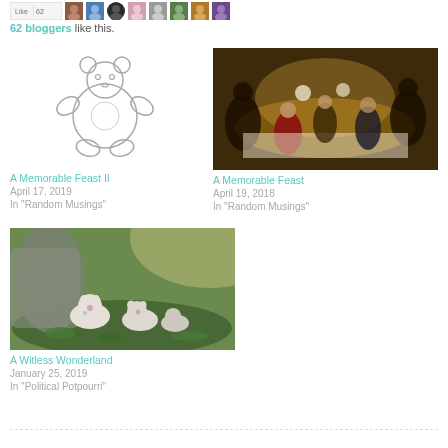[Figure (other): Row of small avatar/profile images with a Like button box]
62 bloggers like this.
[Figure (illustration): Simple line drawing of a teddy bear (cartoon outline style)]
A Memorable Feast II
April 17, 2019
In "Random Musings"
[Figure (photo): Classic painting of a formal dinner party scene with people in evening wear]
A Memorable Feast
April 19, 2018
In "Random Musings"
[Figure (photo): Photo of small ceramic pig figurines lying on mossy ground outdoors]
A Witless Wonderland
January 25, 2019
In "Political Potpourri"